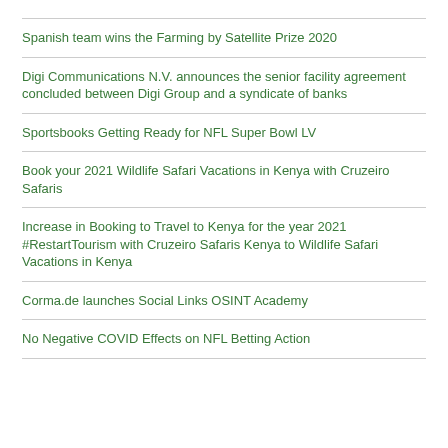Spanish team wins the Farming by Satellite Prize 2020
Digi Communications N.V. announces the senior facility agreement concluded between Digi Group and a syndicate of banks
Sportsbooks Getting Ready for NFL Super Bowl LV
Book your 2021 Wildlife Safari Vacations in Kenya with Cruzeiro Safaris
Increase in Booking to Travel to Kenya for the year 2021 #RestartTourism with Cruzeiro Safaris Kenya to Wildlife Safari Vacations in Kenya
Corma.de launches Social Links OSINT Academy
No Negative COVID Effects on NFL Betting Action